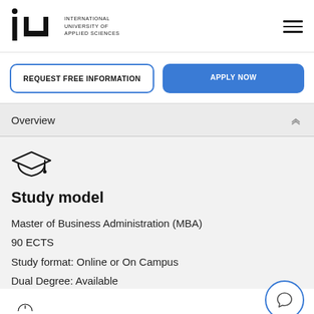IU INTERNATIONAL UNIVERSITY OF APPLIED SCIENCES
REQUEST FREE INFORMATION
APPLY NOW
Overview
[Figure (illustration): Graduation cap icon]
Study model
Master of Business Administration (MBA)
90 ECTS
Study format: Online or On Campus
Dual Degree: Available